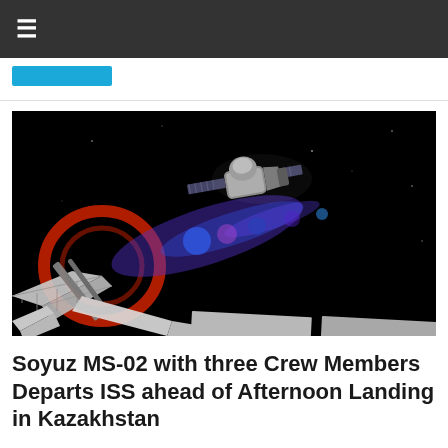≡
[Figure (photo): Soyuz MS-02 spacecraft departing the International Space Station against a black space background, with colorful light streaks (red, blue, purple) visible and ISS solar panels in the foreground lower portion of image.]
Soyuz MS-02 with three Crew Members Departs ISS ahead of Afternoon Landing in Kazakhstan